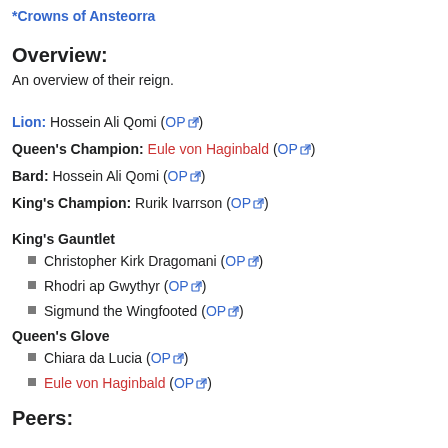*Crowns of Ansteorra
Overview:
An overview of their reign.
Lion: Hossein Ali Qomi (OP 🔗)
Queen's Champion: Eule von Haginbald (OP 🔗)
Bard: Hossein Ali Qomi (OP 🔗)
King's Champion: Rurik Ivarrson (OP 🔗)
King's Gauntlet
Christopher Kirk Dragomani (OP 🔗)
Rhodri ap Gwythyr (OP 🔗)
Sigmund the Wingfooted (OP 🔗)
Queen's Glove
Chiara da Lucia (OP 🔗)
Eule von Haginbald (OP 🔗)
Peers: